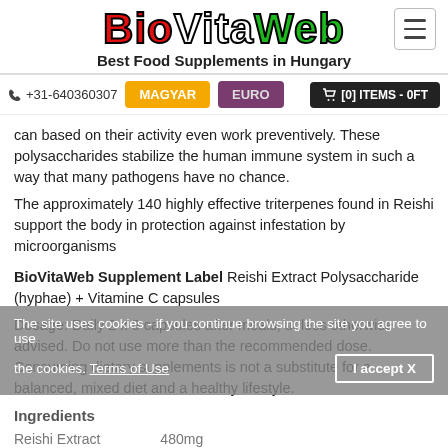[Figure (logo): BioVitaWeb logo with red 'Bio', white 'Vita', green 'Web' text in bold outlined font]
Best Food Supplements in Hungary
+31-640360307  MAGYAR  EURO  [0] ITEMS - 0FT
can based on their activity even work preventively. These polysaccharides stabilize the human immune system in such a way that many pathogens have no chance.
The approximately 140 highly effective triterpenes found in Reishi support the body in protection against infestation by microorganisms
BioVitaWeb Supplement Label Reishi Extract Polysaccharide (hyphae) + Vitamine C capsules
Dosage: Daily 2 x 3 capsules after meals, unless otherwise advised. Do not use more than the recommended dose. Consuming dietary supplements is not a substitute for a balanced, mixed diet and a healthy lifestyle.
Ingredients
Reishi Extract   480mg
The site uses cookies - if you continue browsing the site you agree to use the cookies. Terms of Use  I accept X